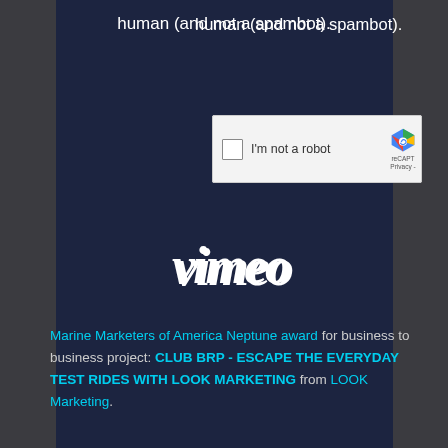[Figure (screenshot): Screenshot of a CAPTCHA widget overlaid on a dark navy Vimeo branded panel. The top shows white text reading 'human (and not a spambot).' with a reCAPTCHA checkbox widget below it showing 'I'm not a robot' and reCAPT / Privacy labels on the right. Below the captcha is the Vimeo logo in large italic white text on the navy background.]
Marine Marketers of America Neptune award for business to business project: CLUB BRP - ESCAPE THE EVERYDAY TEST RIDES WITH LOOK MARKETING from LOOK Marketing.